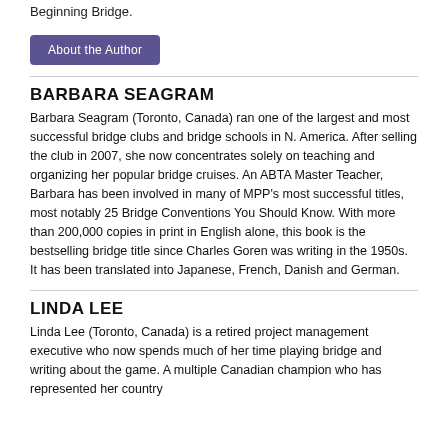Beginning Bridge.
About the Author
BARBARA SEAGRAM
Barbara Seagram (Toronto, Canada) ran one of the largest and most successful bridge clubs and bridge schools in N. America. After selling the club in 2007, she now concentrates solely on teaching and organizing her popular bridge cruises. An ABTA Master Teacher, Barbara has been involved in many of MPP's most successful titles, most notably 25 Bridge Conventions You Should Know. With more than 200,000 copies in print in English alone, this book is the bestselling bridge title since Charles Goren was writing in the 1950s. It has been translated into Japanese, French, Danish and German.
LINDA LEE
Linda Lee (Toronto, Canada) is a retired project management executive who now spends much of her time playing bridge and writing about the game. A multiple Canadian champion who has represented her country